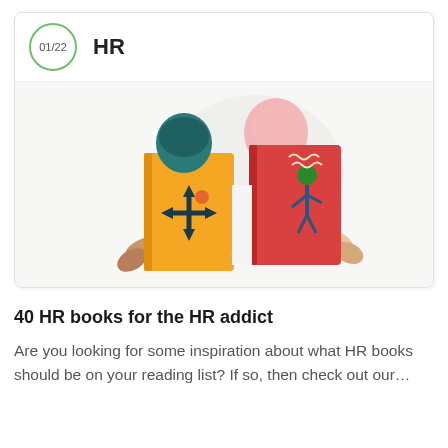01/22  HR
[Figure (illustration): Two people reading books. Left person holds a large yellow book with a directional cross/arrow symbol on the cover. Right person holds a large red book with an illustrated figure on the cover. The readers' upper bodies and hands are visible against a light gray background.]
40 HR books for the HR addict
Are you looking for some inspiration about what HR books should be on your reading list? If so, then check out our…